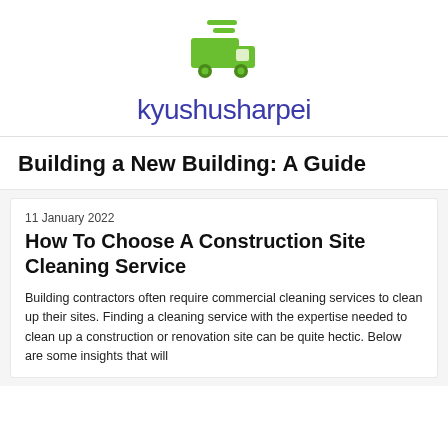[Figure (logo): Green delivery truck / box truck icon with speed lines above, logo for kyushusharpei]
kyushusharpei
Building a New Building: A Guide
11 January 2022
How To Choose A Construction Site Cleaning Service
Building contractors often require commercial cleaning services to clean up their sites. Finding a cleaning service with the expertise needed to clean up a construction or renovation site can be quite hectic. Below are some insights that will